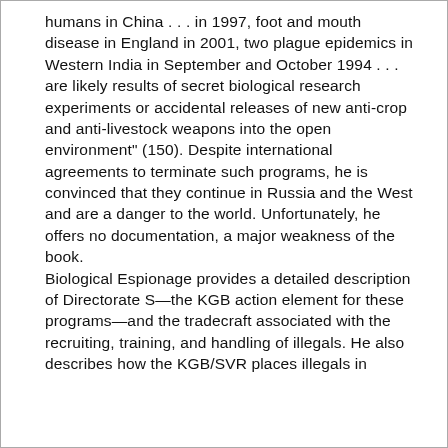humans in China . . . in 1997, foot and mouth disease in England in 2001, two plague epidemics in Western India in September and October 1994 . . . are likely results of secret biological research experiments or accidental releases of new anti-crop and anti-livestock weapons into the open environment" (150). Despite international agreements to terminate such programs, he is convinced that they continue in Russia and the West and are a danger to the world. Unfortunately, he offers no documentation, a major weakness of the book. Biological Espionage provides a detailed description of Directorate S—the KGB action element for these programs—and the tradecraft associated with the recruiting, training, and handling of illegals. He also describes how the KGB/SVR places illegals in